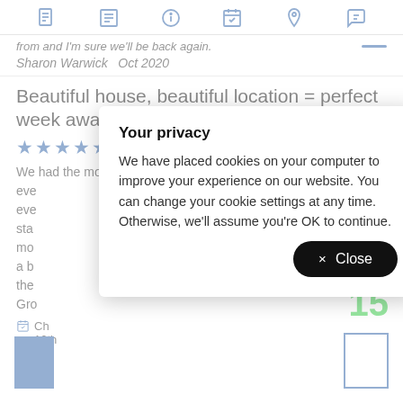[Navigation icons: document, list, info, calendar, location, chat]
from and I'm sure we'll be back again.
Sharon Warwick   Oct 2020
Beautiful house, beautiful location = perfect week away! Five stars
We had the most wonderful stay, the house is stunning and eve... every... stay... more... a br... the... Gro...
Ch... 10th
[Figure (screenshot): Cookie consent modal overlay with title 'Your privacy', body text about cookies, and a black '× Close' button]